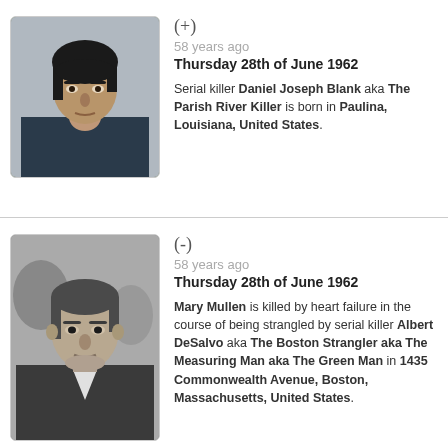[Figure (photo): Color mugshot/portrait photo of Daniel Joseph Blank, a man with dark hair in a bowl cut, pale skin, looking directly at camera.]
(+)
58 years ago
Thursday 28th of June 1962

Serial killer Daniel Joseph Blank aka The Parish River Killer is born in Paulina, Louisiana, United States.
[Figure (photo): Black and white photo of Albert DeSalvo, a man in a dark jacket, shown from shoulders up, looking slightly to the side.]
(-)
58 years ago
Thursday 28th of June 1962

Mary Mullen is killed by heart failure in the course of being strangled by serial killer Albert DeSalvo aka The Boston Strangler aka The Measuring Man aka The Green Man in 1435 Commonwealth Avenue, Boston, Massachusetts, United States.